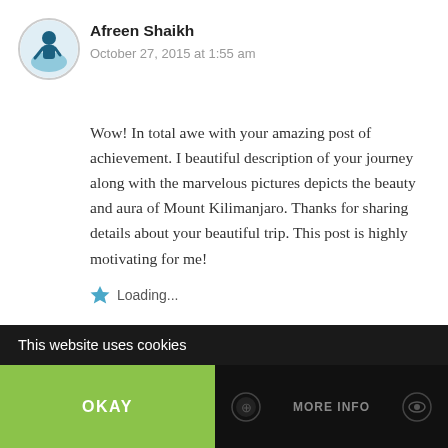[Figure (illustration): Circular avatar image of Afreen Shaikh with a silhouette of a person]
Afreen Shaikh
October 27, 2015 at 1:55 am
Wow! In total awe with your amazing post of achievement. I beautiful description of your journey along with the marvelous pictures depicts the beauty and aura of Mount Kilimanjaro. Thanks for sharing details about your beautiful trip. This post is highly motivating for me!
Loading...
Reply
This website uses cookies
OKAY
MORE INFO